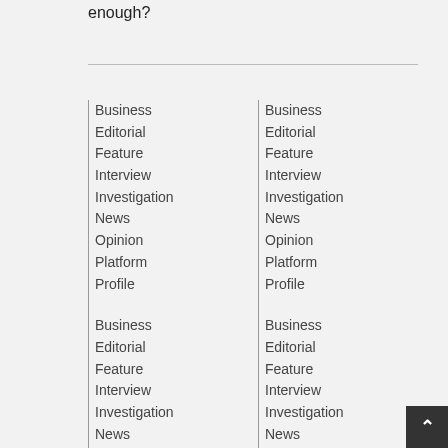enough?
Business
Editorial
Feature
Interview
Investigation
News
Opinion
Platform
Profile
Business
Editorial
Feature
Interview
Investigation
News
Opinion
Business
Editorial
Feature
Interview
Investigation
News
Opinion
Business
Editorial
Feature
Interview
Investigation
News
Opinion